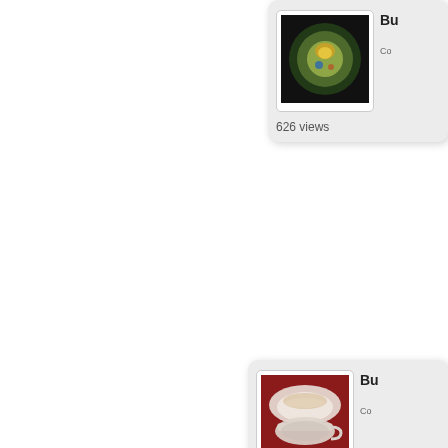[Figure (screenshot): A card UI element showing a decorative porcelain plate with floral design on black background. Title starts with 'Bu'. Shows 'Co' label. 626 views.]
626 views
[Figure (screenshot): A card UI element showing a teacup and saucer set on red background. Title starts with 'Bu'. Shows 'Co' label. 662 views.]
662 views
Page 9 of 9  <  1  2  3